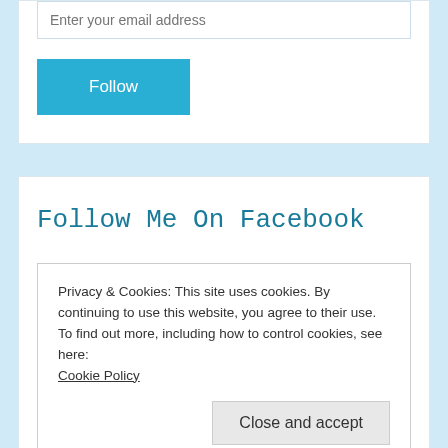Enter your email address
Follow
Follow Me On Facebook
Privacy & Cookies: This site uses cookies. By continuing to use this website, you agree to their use.
To find out more, including how to control cookies, see here:
Cookie Policy
Close and accept